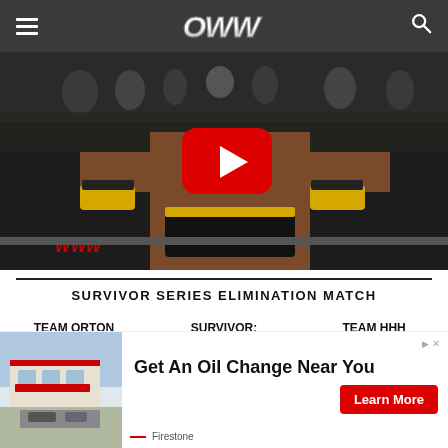OWW (Online World of Wrestling) navigation bar
[Figure (screenshot): YouTube video embed showing a WWE wrestler (wearing black and yellow gear with WWE logo visible) posing in front of a crowd, with a red YouTube play button overlay in the center]
SURVIVOR SERIES ELIMINATION MATCH
| TEAM ORTON | SURVIVOR: | TEAM HHH |
| --- | --- | --- |
| Randy Orton | Randy Orton | Triple H |
[Figure (infographic): Advertisement banner for Firestone oil change service showing a Firestone store building photo, headline 'Get An Oil Change Near You', and a red 'Learn More' button]